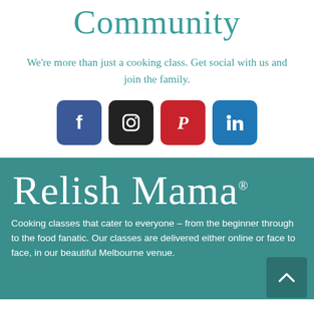Community
We're more than just a cooking class. Get social with us and join the family.
[Figure (other): Four social media icons: Facebook (blue), Instagram (black), Pinterest (red), LinkedIn (blue)]
[Figure (logo): Relish Mama logo in white cursive script on teal background with registered trademark symbol]
Cooking classes that cater to everyone – from the beginner through to the food fanatic. Our classes are delivered either online or face to face, in our beautiful Melbourne venue.